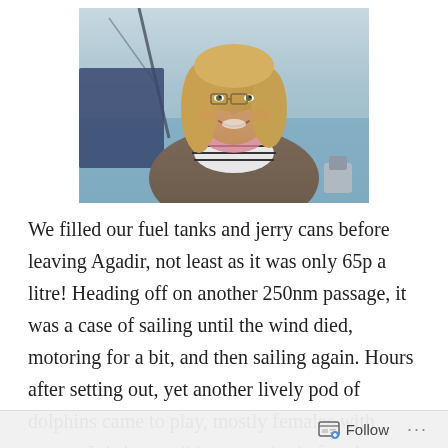[Figure (photo): A smiling woman with long blonde hair on a sailboat, wearing a striped top and jacket, with ocean and rigging visible in the background.]
We filled our fuel tanks and jerry cans before leaving Agadir, not least as it was only 65p a litre! Heading off on another 250nm passage, it was a case of sailing until the wind died, motoring for a bit, and then sailing again. Hours after setting out, yet another lively pod of dolphins came to play, mostly females with young. It is impossible to get tired of such visitors, weaving their spells around the bow of the boat, only inches from the hull. Some leaping clear of the water to provide a spectacular show. In the distance there was a larger creature that spouted, probably a pilot